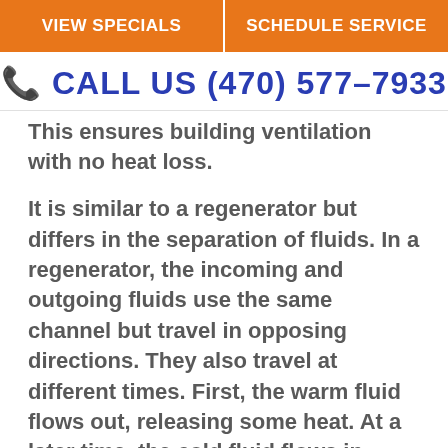VIEW SPECIALS | SCHEDULE SERVICE
📞 CALL US (470) 577-7933
This ensures building ventilation with no heat loss.
It is similar to a regenerator but differs in the separation of fluids. In a regenerator, the incoming and outgoing fluids use the same channel but travel in opposing directions. They also travel at different times. First, the warm fluid flows out, releasing some heat. At a later time, the cold fluid flows in using